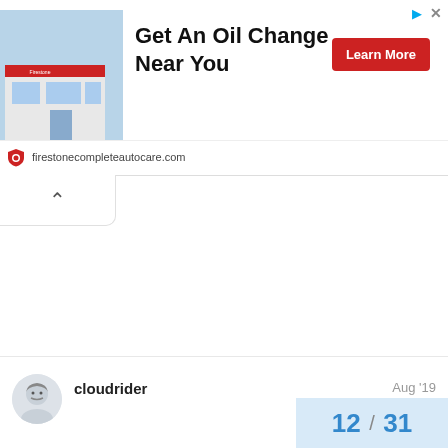[Figure (screenshot): Advertisement banner for Firestone Complete Auto Care showing a store exterior photo, headline 'Get An Oil Change Near You', a red 'Learn More' button, and the URL firestonecompleteautocare.com with a shield logo.]
cloudrider
Aug '19
12 / 31